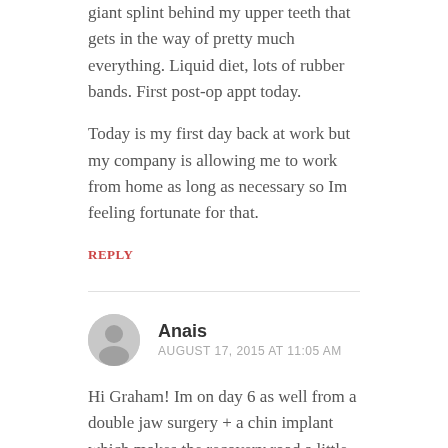giant splint behind my upper teeth that gets in the way of pretty much everything. Liquid diet, lots of rubber bands. First post-op appt today.
Today is my first day back at work but my company is allowing me to work from home as long as necessary so Im feeling fortunate for that.
REPLY
Anais
AUGUST 17, 2015 AT 11:05 AM
Hi Graham! Im on day 6 as well from a double jaw surgery + a chin implant which makes the recovery road a little longer than yours, so thank you so much for your website, its really helped me feel a whole lot better about this surgery!
REPLY